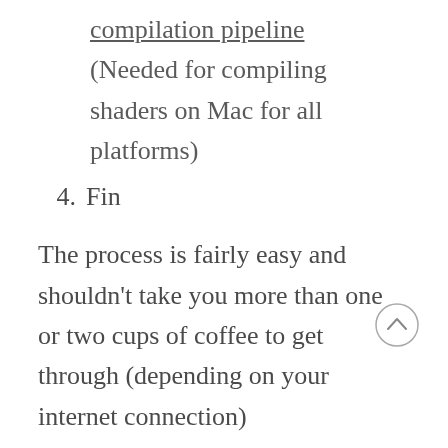compilation pipeline (Needed for compiling shaders on Mac for all platforms)
4. Fin
The process is fairly easy and shouldn't take you more than one or two cups of coffee to get through (depending on your internet connection)
If you prefer, I have uploaded a video walking through the process here: